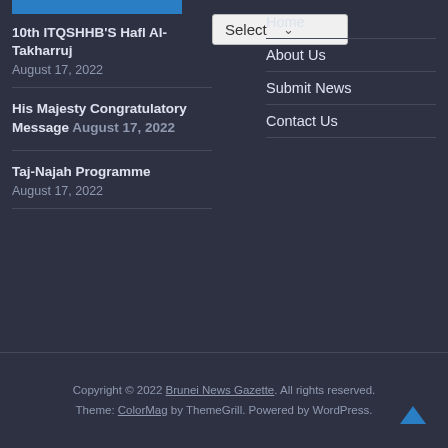[Figure (other): Blue horizontal bar at top left]
10th ITQSHHB'S Hafl Al-Takharruj August 17, 2022
His Majesty Congratulatory Message August 17, 2022
Taj-Najah Programme August 17, 2022
[Figure (other): Select dropdown button in middle column]
Home
About Us
Submit News
Contact Us
Copyright © 2022 Brunei News Gazette. All rights reserved. Theme: ColorMag by ThemeGrill. Powered by WordPress.